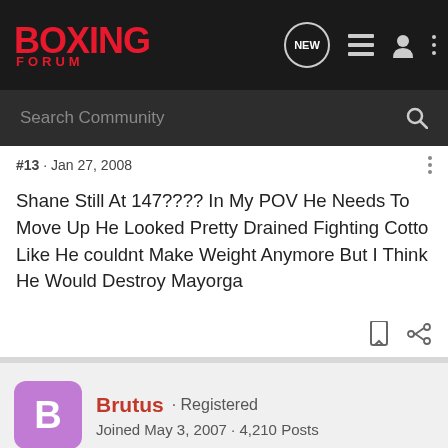BOXING FORUM
Search Community
#13 · Jan 27, 2008
Shane Still At 147???? In My POV He Needs To Move Up He Looked Pretty Drained Fighting Cotto Like He couldnt Make Weight Anymore But I Think He Would Destroy Mayorga
Brutus · Registered
Joined May 3, 2007 · 4,210 Posts
#14 · Jan 27, 2008